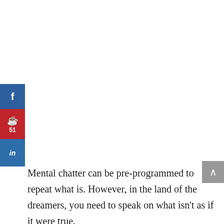[Figure (other): Social media sharing sidebar with Facebook (blue), Pinterest (red, 51 shares), and LinkedIn (blue) buttons]
[Figure (other): Gray scroll-to-top button with upward chevron arrow on right edge]
Mental chatter can be pre-programmed to repeat what is. However, in the land of the dreamers, you need to speak on what isn't as if it were true.
For many that is too far of a jump.